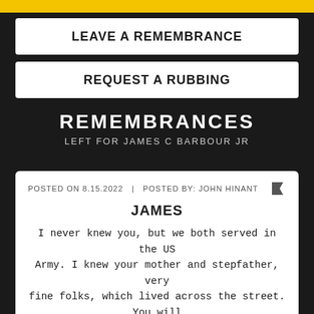[Figure (other): Yellow decorative bar at top of page]
LEAVE A REMEMBRANCE
REQUEST A RUBBING
REMEMBRANCES
LEFT FOR JAMES C BARBOUR JR
POSTED ON 8.15.2022  |  POSTED BY: JOHN HINANT
JAMES
I never knew you, but we both served in the US Army. I knew your mother and stepfather, very fine folks, which lived across the street. You will always be my thoughts. Some day we will see
READ MORE